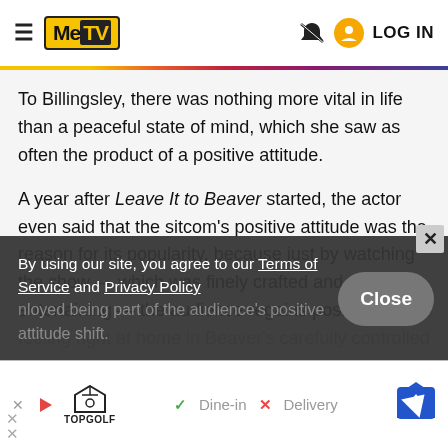MeTV — Navigation header with hamburger menu, MeTV logo, bell icon, user icon, LOG IN
To Billingsley, there was nothing more vital in life than a peaceful state of mind, which she saw as often the product of a positive attitude.
A year after Leave It to Beaver started, the actor even said that the sitcom's positive attitude was the reason for its popularity, because just by watching the show — which was finely crafted and entertaining — the audience regains positivity, feeling right at home in Beaver's carefully controlled
By using our site, you agree to our Terms of Service and Privacy Policy
nloyed being part of the audience's positive attitude shift.
[Figure (screenshot): Cookie/privacy consent overlay with Close button]
[Figure (screenshot): Advertisement bar at bottom: TopGolf ad with Dine-in and Delivery options and map navigation icon]